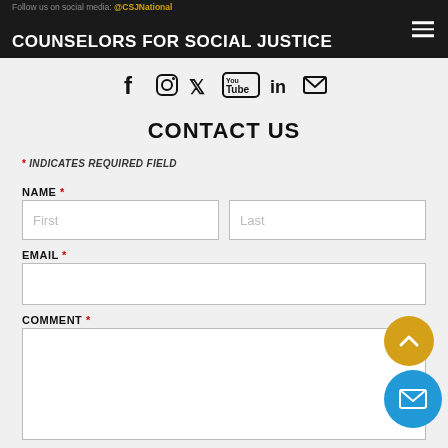Follow us on social media: @CSJNational | COUNSELORS FOR SOCIAL JUSTICE
[Figure (illustration): Social media icons: Facebook, Instagram, Twitter, YouTube, LinkedIn, Email]
CONTACT US
* INDICATES REQUIRED FIELD
NAME *
First | Last (input fields)
EMAIL *
EMAIL input field
COMMENT *
COMMENT textarea